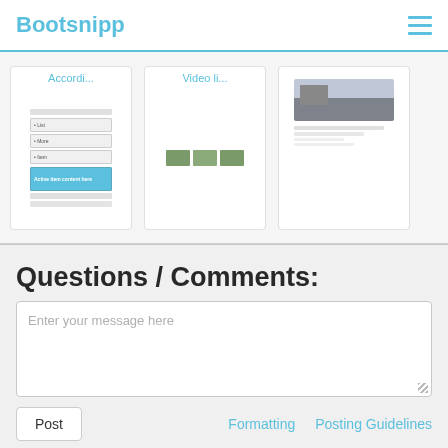Bootsnipp
[Figure (screenshot): Three card thumbnails: Accordion snippet, Video list snippet, and a profile card snippet]
Questions / Comments:
Enter your message here
Post  Formatting  Posting Guidelines